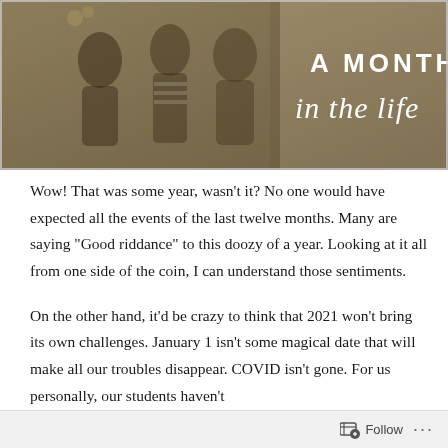[Figure (photo): Sepia-toned photo of children outdoors with text overlay reading 'A MONTH in the life' in white lettering on the right side]
Wow! That was some year, wasn't it? No one would have expected all the events of the last twelve months. Many are saying “Good riddance” to this doozy of a year. Looking at it all from one side of the coin, I can understand those sentiments.
On the other hand, it’d be crazy to think that 2021 won’t bring its own challenges. January 1 isn’t some magical date that will make all our troubles disappear. COVID isn’t gone. For us personally, our students haven’t
Follow ...